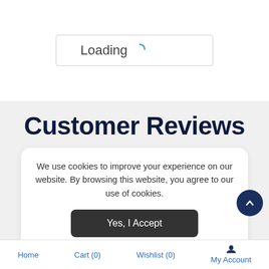[Figure (screenshot): Loading spinner box with text 'Loading' and a blue arc spinner icon]
Customer Reviews
We use cookies to improve your experience on our website. By browsing this website, you agree to our use of cookies.
Yes, I Accept
Home   Cart (0)   Wishlist (0)   My Account